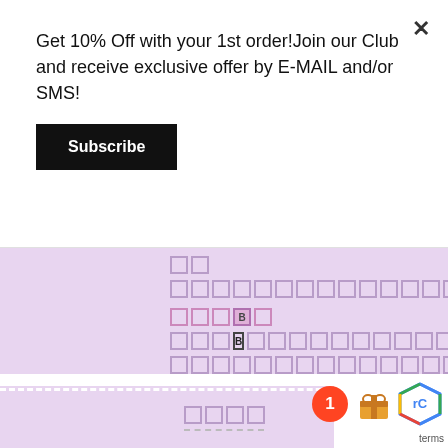Get 10% Off with your 1st order!Join our Club and receive exclusive offer by E-MAIL and/or SMS!
Subscribe
[Figure (screenshot): Purple background area with placeholder box characters arranged in rows, including a section label with bold B character in pink/purple color, and a dashed white horizontal divider line]
[Figure (screenshot): Bottom section with placeholder boxes and dashed underline, plus a red badge showing '1', an orange gift icon, and a partial reCAPTCHA logo with 'terms' text]